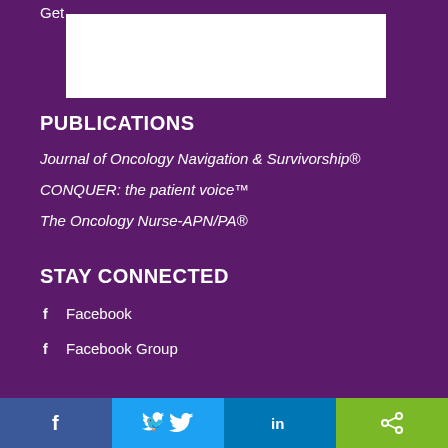Get
[Figure (other): White rectangular content area / image placeholder at top]
PUBLICATIONS
Journal of Oncology Navigation & Survivorship®
CONQUER: the patient voice™
The Oncology Nurse-APN/PA®
STAY CONNECTED
Facebook
Facebook Group
f  Twitter  in  share